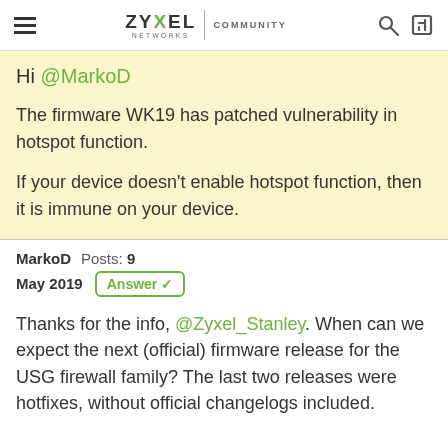ZYXEL NETWORKS | COMMUNITY
Hi @MarkoD

The firmware WK19 has patched vulnerability in hotspot function.

If your device doesn't enable hotspot function, then it is immune on your device.
MarkoD  Posts: 9
May 2019  Answer ✓
Thanks for the info, @Zyxel_Stanley. When can we expect the next (official) firmware release for the USG firewall family? The last two releases were hotfixes, without official changelogs included.